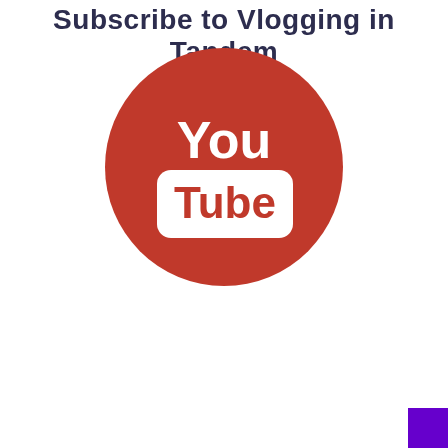Subscribe to Vlogging in Tandem
[Figure (logo): YouTube logo: red circle with white 'You' text on top and a red 'Tube' text inside a white rounded rectangle on bottom]